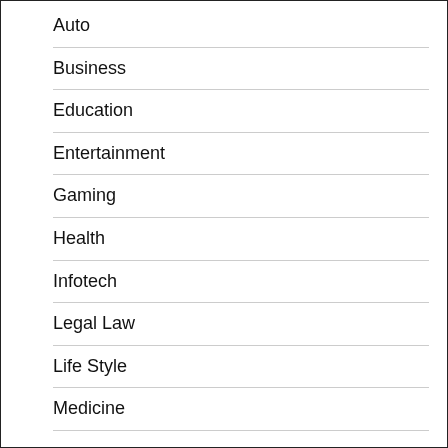Auto
Business
Education
Entertainment
Gaming
Health
Infotech
Legal Law
Life Style
Medicine